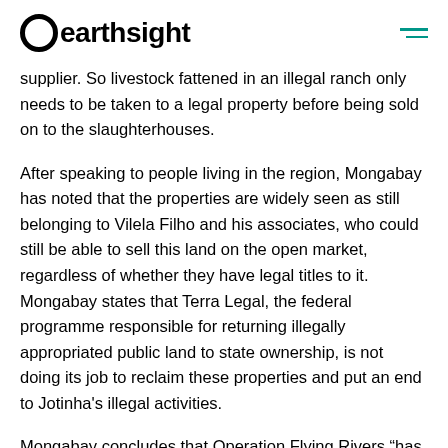earthsight
supplier. So livestock fattened in an illegal ranch only needs to be taken to a legal property before being sold on to the slaughterhouses.
After speaking to people living in the region, Mongabay has noted that the properties are widely seen as still belonging to Vilela Filho and his associates, who could still be able to sell this land on the open market, regardless of whether they have legal titles to it. Mongabay states that Terra Legal, the federal programme responsible for returning illegally appropriated public land to state ownership, is not doing its job to reclaim these properties and put an end to Jotinha's illegal activities.
Mongabay concludes that Operation Flying Rivers “has not been able to put an end to the most serious problem: